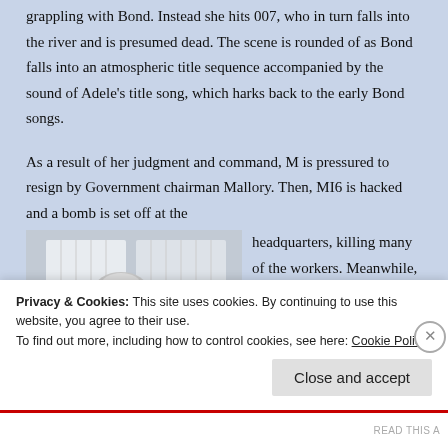grappling with Bond. Instead she hits 007, who in turn falls into the river and is presumed dead. The scene is rounded of as Bond falls into an atmospheric title sequence accompanied by the sound of Adele's title song, which harks back to the early Bond songs.
As a result of her judgment and command, M is pressured to resign by Government chairman Mallory. Then, MI6 is hacked and a bomb is set off at the headquarters, killing many of the workers. Meanwhile, Bond is
[Figure (photo): A woman with short white hair wearing a dark jacket stands in front of a window with vertical blinds, with an office chair visible behind her.]
Privacy & Cookies: This site uses cookies. By continuing to use this website, you agree to their use.
To find out more, including how to control cookies, see here: Cookie Policy
Close and accept